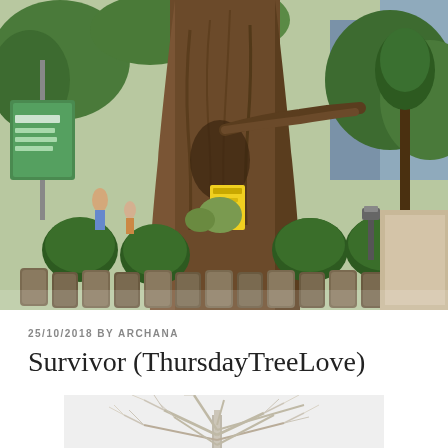[Figure (photo): Large ancient tree trunk with gnarled bark in a Japanese garden setting. The tree is surrounded by trimmed round bushes and wooden log stumps forming a circular border. Green shrubs and trees fill the background, with a blue building visible, and a green sign on the left.]
25/10/2018 BY ARCHANA
Survivor (ThursdayTreeLove)
[Figure (photo): Bare winter tree with thin branches spreading outward, photographed in misty/foggy conditions, appearing in light grey tones.]